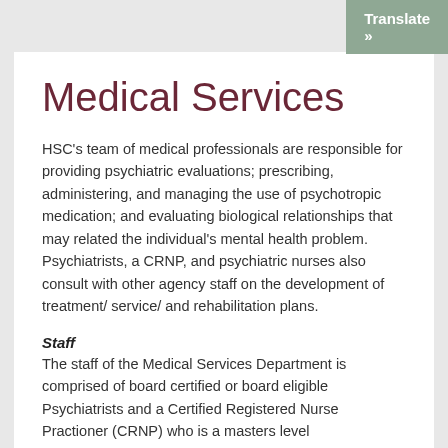Translate »
Medical Services
HSC's team of medical professionals are responsible for providing psychiatric evaluations; prescribing, administering, and managing the use of psychotropic medication; and evaluating biological relationships that may related the individual's mental health problem. Psychiatrists, a CRNP, and psychiatric nurses also consult with other agency staff on the development of treatment/ service/ and rehabilitation plans.
Staff
The staff of the Medical Services Department is comprised of board certified or board eligible Psychiatrists and a Certified Registered Nurse Practioner (CRNP) who is a masters level